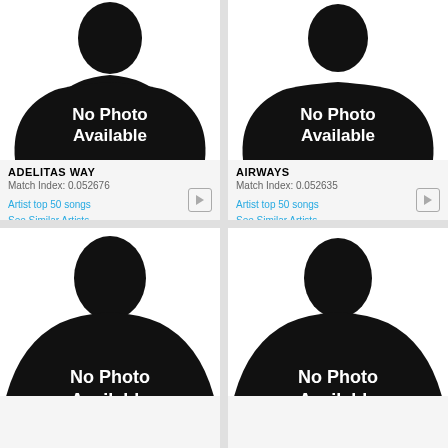[Figure (photo): Silhouette placeholder image with text 'No Photo Available' for artist Adelitas Way]
ADELITAS WAY
Match Index: 0.052676
Artist top 50 songs
See Similar Artists
See Artist Info
[Figure (photo): Silhouette placeholder image with text 'No Photo Available' for artist Airways]
AIRWAYS
Match Index: 0.052635
Artist top 50 songs
See Similar Artists
See Artist Info
[Figure (photo): Silhouette placeholder image with text 'No Photo Available' (bottom left, partially visible)]
[Figure (photo): Silhouette placeholder image with text 'No Photo Available' (bottom right, partially visible)]